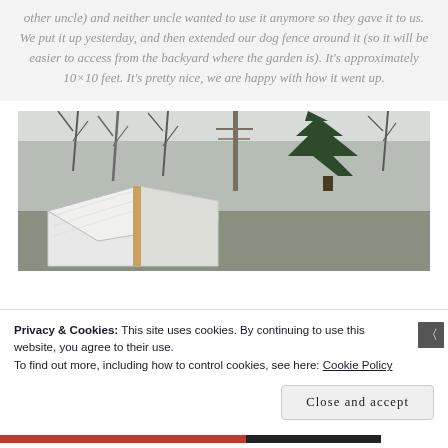other uncle) and neither uncle wanted to use it anymore so they gave it to us. We put it up yesterday, and then extended our dog fence around it (so it will be easier to access from the backyard where the garden is). It's approximately 10×10 feet. It's pretty nice, we are happy with how it went up.
[Figure (photo): Outdoor photo showing a white greenhouse/hoop house structure in a backyard or rural setting, surrounded by bare deciduous trees and an evergreen tree. Winter or late autumn conditions. The greenhouse appears to be covered with white plastic sheeting.]
Privacy & Cookies: This site uses cookies. By continuing to use this website, you agree to their use.
To find out more, including how to control cookies, see here: Cookie Policy